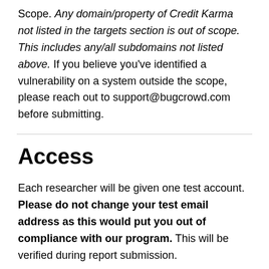Scope. Any domain/property of Credit Karma not listed in the targets section is out of scope. This includes any/all subdomains not listed above. If you believe you've identified a vulnerability on a system outside the scope, please reach out to support@bugcrowd.com before submitting.
Access
Each researcher will be given one test account. Please do not change your test email address as this would put you out of compliance with our program. This will be verified during report submission.
Android: https://play.google.com/store/apps/details?id=com.creditkarma.mobile&hl=en
iOS: https://itunes.apple.com/us/app/credit-karma-